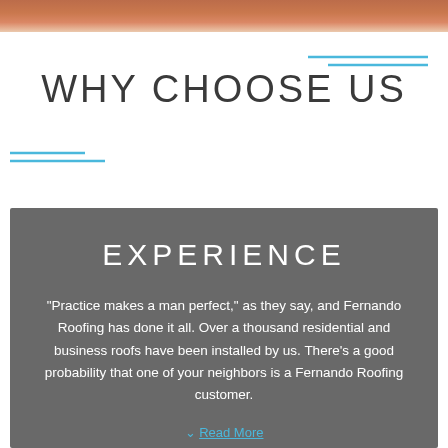[Figure (photo): Partial top strip showing a rooftop with reddish-orange roof tiles]
WHY CHOOSE US
EXPERIENCE
“Practice makes a man perfect,” as they say, and Fernando Roofing has done it all. Over a thousand residential and business roofs have been installed by us. There’s a good probability that one of your neighbors is a Fernando Roofing customer.
Read More